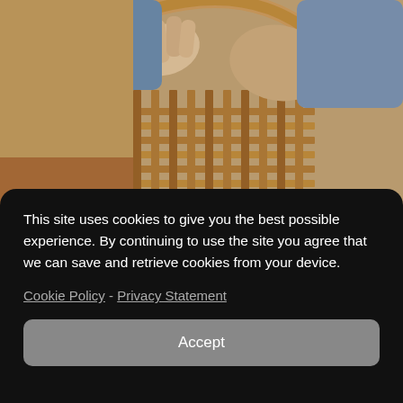[Figure (photo): Hands weaving or assembling a wooden basket or chair, close-up view showing interlaced wooden strips and a curved wooden frame handle.]
This site uses cookies to give you the best possible experience. By continuing to use the site you agree that we can save and retrieve cookies from your device.
Cookie Policy - Privacy Statement
Accept